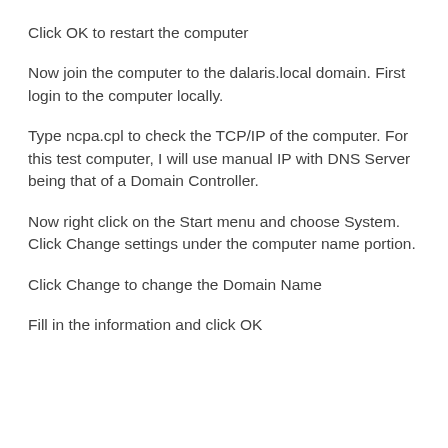Click OK to restart the computer
Now join the computer to the dalaris.local domain. First login to the computer locally.
Type ncpa.cpl to check the TCP/IP of the computer. For this test computer, I will use manual IP with DNS Server being that of a Domain Controller.
Now right click on the Start menu and choose System. Click Change settings under the computer name portion.
Click Change to change the Domain Name
Fill in the information and click OK